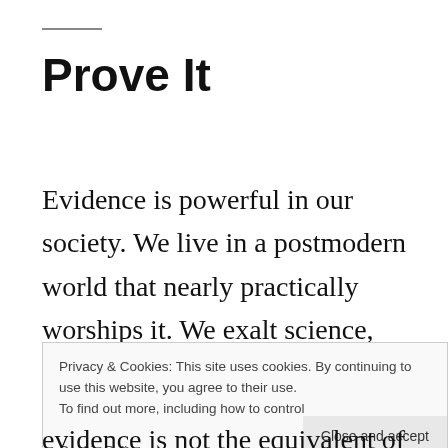Prove It
Evidence is powerful in our society. We live in a postmodern world that nearly practically worships it. We exalt science, where material evidence is the sine qua non, as a major
Privacy & Cookies: This site uses cookies. By continuing to use this website, you agree to their use.
To find out more, including how to control Cookie Policy
evidence is not the equivalent of truth. It